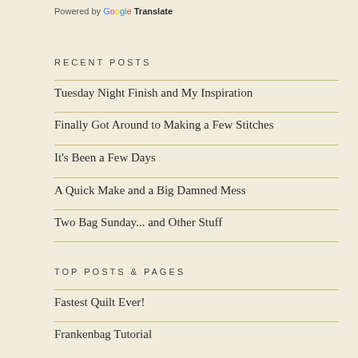Powered by Google Translate
RECENT POSTS
Tuesday Night Finish and My Inspiration
Finally Got Around to Making a Few Stitches
It's Been a Few Days
A Quick Make and a Big Damned Mess
Two Bag Sunday... and Other Stuff
TOP POSTS & PAGES
Fastest Quilt Ever!
Frankenbag Tutorial